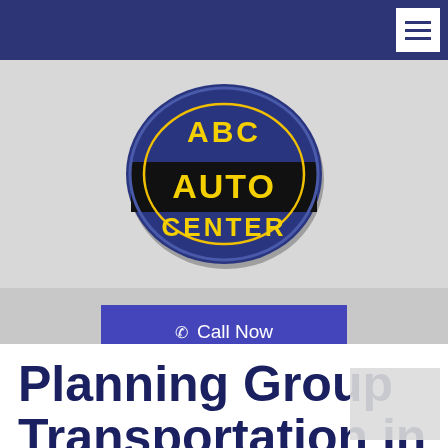ABC Auto Center navigation header
[Figure (logo): ABC Auto Center logo: a dark blue oval badge with yellow bold text reading ABC on top, AUTO in the center on a black rectangle, and CENTER at the bottom, all in yellow lettering]
Call Now
Reserve Now
Planning Group Transportation in